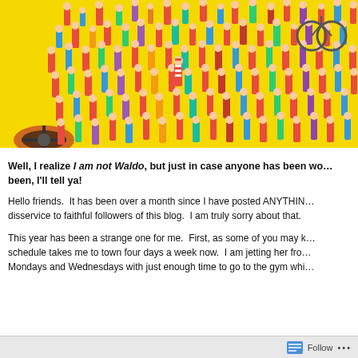[Figure (illustration): A cropped Where's Waldo illustration showing a dense crowd of colorful cartoon characters on a yellow background — people in red and white striped outfits, various costumes, all clustered together in a chaotic scene.]
Well, I realize I am not Waldo, but just in case anyone has been wondering where I've been, I'll tell ya!
Hello friends.  It has been over a month since I have posted ANYTHING and that is a huge disservice to faithful followers of this blog.  I am truly sorry about that.
This year has been a strange one for me.  First, as some of you may know, my daughter's schedule takes me to town four days a week now.  I am jetting her from school to activities on Mondays and Wednesdays with just enough time to go to the gym whi
Follow